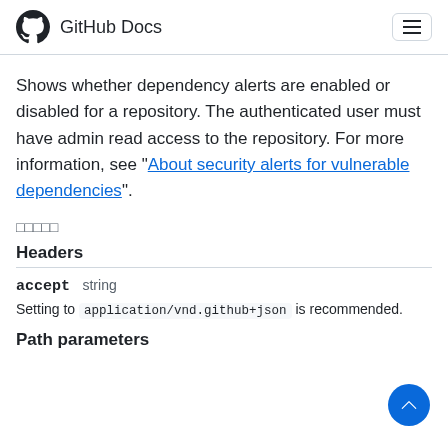GitHub Docs
Shows whether dependency alerts are enabled or disabled for a repository. The authenticated user must have admin read access to the repository. For more information, see "About security alerts for vulnerable dependencies".
□□□□□
Headers
accept  string
Setting to application/vnd.github+json is recommended.
Path parameters